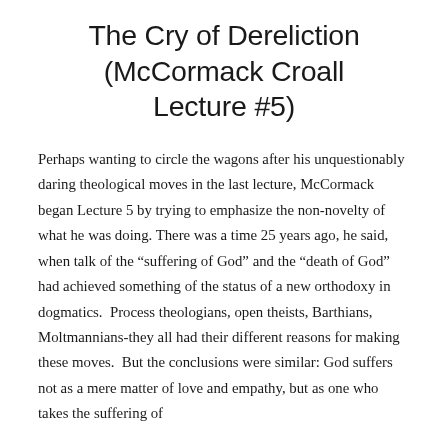The Cry of Dereliction (McCormack Croall Lecture #5)
Perhaps wanting to circle the wagons after his unquestionably daring theological moves in the last lecture, McCormack began Lecture 5 by trying to emphasize the non-novelty of what he was doing. There was a time 25 years ago, he said, when talk of the “suffering of God” and the “death of God” had achieved something of the status of a new orthodoxy in dogmatics. Process theologians, open theists, Barthians, Moltmannians-they all had their different reasons for making these moves. But the conclusions were similar: God suffers not as a mere matter of love and empathy, but as one who takes the suffering of